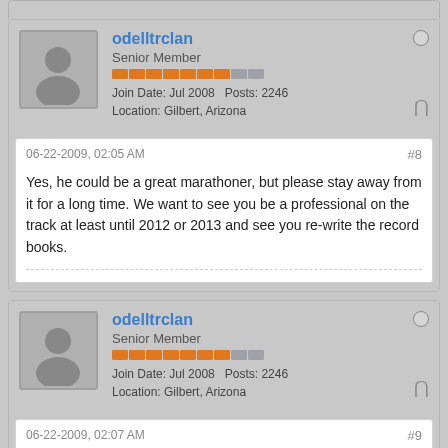odelltrclan
Senior Member
Join Date: Jul 2008   Posts: 2246
Location: Gilbert, Arizona
06-22-2009, 02:05 AM
#8
Yes, he could be a great marathoner, but please stay away from it for a long time. We want to see you be a professional on the track at least until 2012 or 2013 and see you re-write the record books.
odelltrclan
Senior Member
Join Date: Jul 2008   Posts: 2246
Location: Gilbert, Arizona
06-22-2009, 02:07 AM
#9
Originally posted by Conor Dary